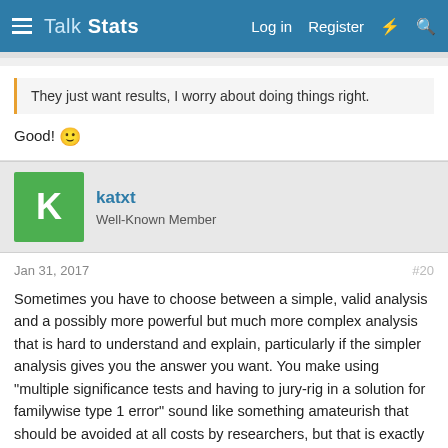Talk Stats — Log in  Register
They just want results, I worry about doing things right.
Good! 🙂
katxt
Well-Known Member
Jan 31, 2017    #20
Sometimes you have to choose between a simple, valid analysis and a possibly more powerful but much more complex analysis that is hard to understand and explain, particularly if the simpler analysis gives you the answer you want. You make using "multiple significance tests and having to jury-rig in a solution for familywise type 1 error" sound like something amateurish that should be avoided at all costs by researchers, but that is exactly how an anova works.